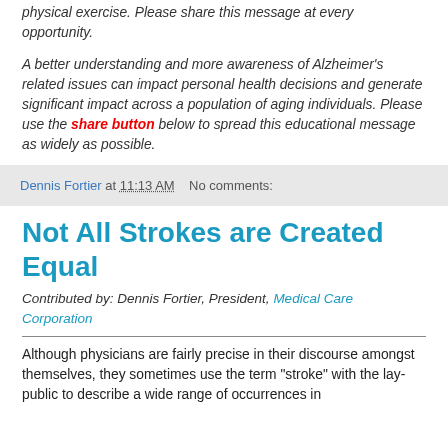physical exercise. Please share this message at every opportunity.
A better understanding and more awareness of Alzheimer's related issues can impact personal health decisions and generate significant impact across a population of aging individuals. Please use the share button below to spread this educational message as widely as possible.
Dennis Fortier at 11:13 AM    No comments:
Not All Strokes are Created Equal
Contributed by: Dennis Fortier, President, Medical Care Corporation
Although physicians are fairly precise in their discourse amongst themselves, they sometimes use the term "stroke" with the lay-public to describe a wide range of occurrences in the brain that may...